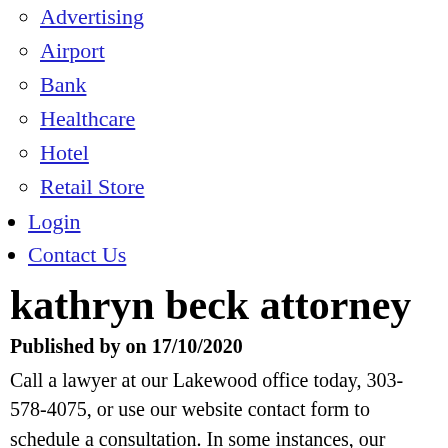Advertising
Airport
Bank
Healthcare
Hotel
Retail Store
Login
Contact Us
kathryn beck attorney
Published by on 17/10/2020
Call a lawyer at our Lakewood office today, 303-578-4075, or use our website contact form to schedule a consultation. In some instances, our clients are uncertain what is reasonable to expect, so we help them understand their options and set priorities. She courageously took on our custody case after an inexperienced attorney and an unethical CFI left us with a situation that was not in my son's best interest. Log in, “Aggressive Malware” Infects Law Firm Software Systems, Sexting Scandal and ‘Fair Game’ for Cal Cunningham Sees Questions Over Further Issues, Auckland Law Firm Forms Alliance With Immigration Firm To Expand Growth, How The COVID Crisis Has Prompted Law Firms To